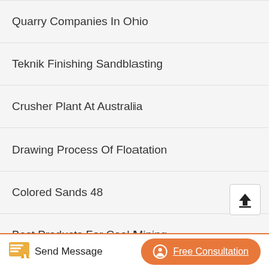Quarry Companies In Ohio
Teknik Finishing Sandblasting
Crusher Plant At Australia
Drawing Process Of Floatation
Colored Sands 48
Best Products For Coal Mining
Crushed Rock Abc Dry Powder Making Machines Crusher Mills
Send Message   Free Consultation